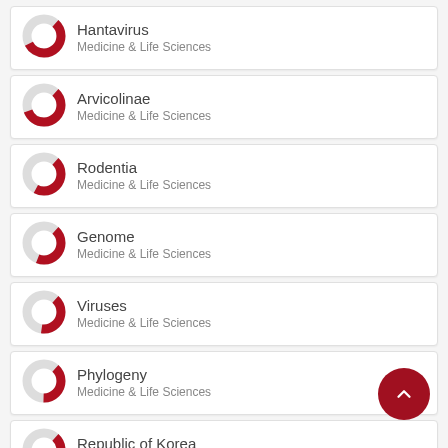Hantavirus
Medicine & Life Sciences
Arvicolinae
Medicine & Life Sciences
Rodentia
Medicine & Life Sciences
Genome
Medicine & Life Sciences
Viruses
Medicine & Life Sciences
Phylogeny
Medicine & Life Sciences
Republic of Korea
Medicine & Life Sciences